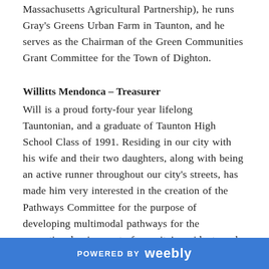Massachusetts Agricultural Partnership), he runs Gray's Greens Urban Farm in Taunton, and he serves as the Chairman of the Green Communities Grant Committee for the Town of Dighton.
Willitts Mendonca – Treasurer
Will is a proud forty-four year lifelong Tauntonian, and a graduate of Taunton High School Class of 1991. Residing in our city with his wife and their two daughters, along with being an active runner throughout our city's streets, has made him very interested in the creation of the Pathways Committee for the purpose of developing multimodal pathways for the recreational enjoyment of our city's residents and visitors. In his opinion, the creation of safe pathways for bicyclists, runners, and walkers is an extremely important component of the quality of life
POWERED BY weebly